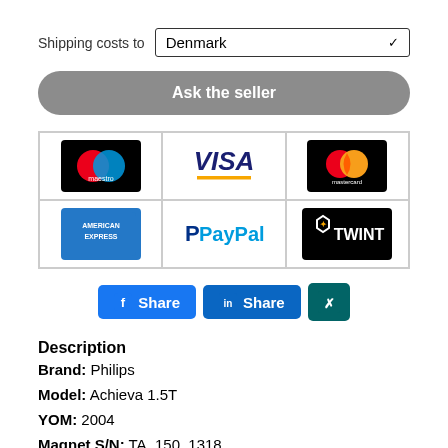Shipping costs to Denmark
Ask the seller
[Figure (logo): Payment method logos: Maestro, VISA, Mastercard, American Express, PayPal, TWINT]
[Figure (infographic): Social share buttons: Facebook Share, LinkedIn Share, XING]
Description
Brand: Philips
Model: Achieva 1.5T
YOM: 2004
Magnet S/N: TA_150_1318